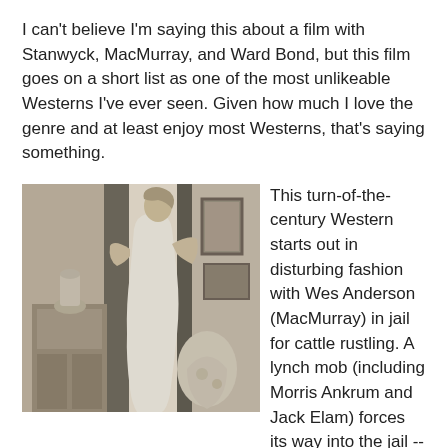I can't believe I'm saying this about a film with Stanwyck, MacMurray, and Ward Bond, but this film goes on a short list as one of the most unlikeable Westerns I've ever seen. Given how much I love the genre and at least enjoy most Westerns, that's saying something.
[Figure (photo): Black and white vintage photograph of a woman in a white dress reaching or working near a window with curtains and floral wallpaper in the background; indoor room scene with furniture visible]
This turn-of-the-century Western starts out in disturbing fashion with Wes Anderson (MacMurray) in jail for cattle rustling. A lynch mob (including Morris Ankrum and Jack Elam) forces its way into the jail -- and then hangs the wrong man.
Anderson escapes and wreaks vengeance on the lynchers who murdered an innocent man. He then retreats to his family home for the first time in half a decade, where he